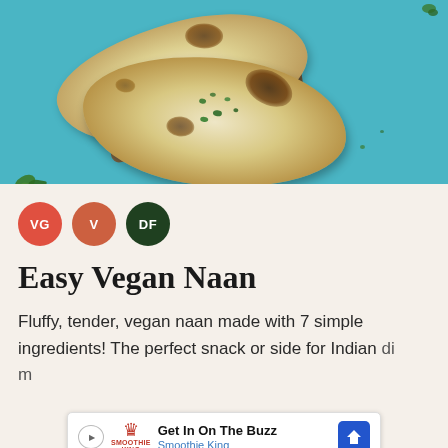[Figure (photo): Overhead photo of vegan naan bread on a wooden board, garnished with fresh cilantro/parsley herbs, with charred spots, set against a bright teal/blue background]
VG V DF
Easy Vegan Naan
Fluffy, tender, vegan naan made with 7 simple ingredients! The perfect snack or side for Indian di... m...
[Figure (other): Advertisement banner: Get In On The Buzz - Smoothie King ad with logo, play button, and navigation icon]